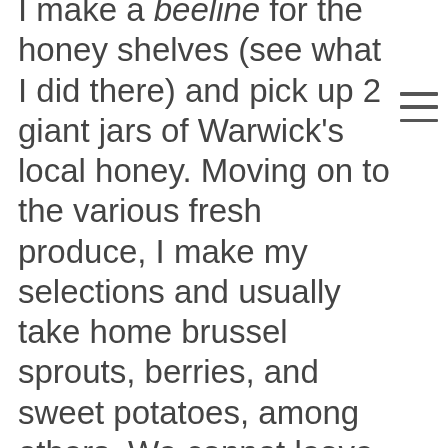I make a beeline for the honey shelves (see what I did there) and pick up 2 giant jars of Warwick's local honey. Moving on to the various fresh produce, I make my selections and usually take home brussel sprouts, berries, and sweet potatoes, among others. We cannot leave the market without purchasing a gallon of farm fresh apple cider- mmm, I can feel my mouth watering! On the other side of the market, my cousins are standing on line for Pennings' famous apple cider donuts purchasing a couple to eat outside and a case of 6 to bring home. I cannot eat the donuts due to my severe food allergies but